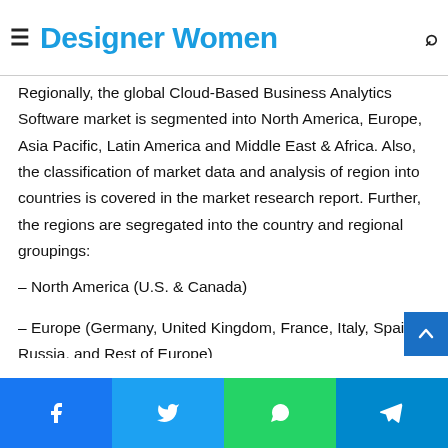Designer Women
Regionally, the global Cloud-Based Business Analytics Software market is segmented into North America, Europe, Asia Pacific, Latin America and Middle East & Africa. Also, the classification of market data and analysis of region into countries is covered in the market research report. Further, the regions are segregated into the country and regional groupings:
– North America (U.S. & Canada)
– Europe (Germany, United Kingdom, France, Italy, Spain, Russia, and Rest of Europe)